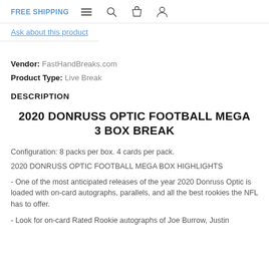FREE SHIPPING
Ask about this product
Vendor: FastHandBreaks.com
Product Type: Live Break
DESCRIPTION
2020 DONRUSS OPTIC FOOTBALL MEGA 3 BOX BREAK
Configuration: 8 packs per box. 4 cards per pack.
2020 DONRUSS OPTIC FOOTBALL MEGA BOX HIGHLIGHTS
- One of the most anticipated releases of the year 2020 Donruss Optic is loaded with on-card autographs, parallels, and all the best rookies the NFL has to offer.
- Look for on-card Rated Rookie autographs of Joe Burrow, Justin